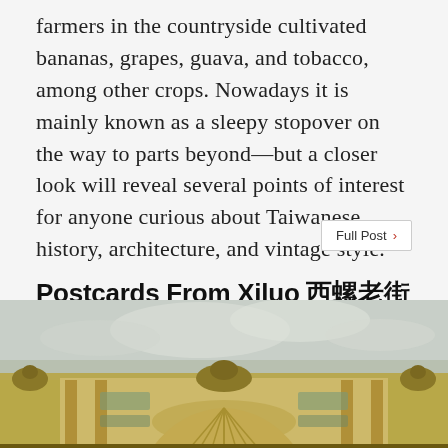farmers in the countryside cultivated bananas, grapes, guava, and tobacco, among other crops. Nowadays it is mainly known as a sleepy stopover on the way to parts beyond—but a closer look will reveal several points of interest for anyone curious about Taiwanese history, architecture, and vintage style.
Full Post >
Postcards From Xiluo 西螺老街
TRAVELOGUES / September 14, 2017
[Figure (photo): Photograph of the ornate facade of a historical building in Xiluo, Taiwan, showing decorative colonial-era architecture with a large central fan/shell motif, flanked by eagle statues and columns, against a cloudy sky.]